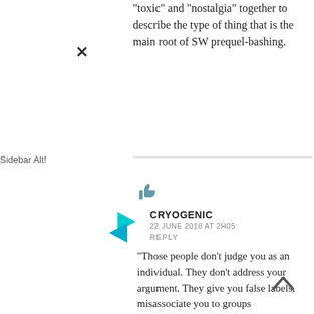“toxic” and “nostalgia” together to describe the type of thing that is the main root of SW prequel-bashing.
Sidebar Alt!
CRYOGENIC
22 JUNE 2018 AT 2H05
REPLY
“Those people don’t judge you as an individual. They don’t address your argument. They give you false labels, misassociate you to groups